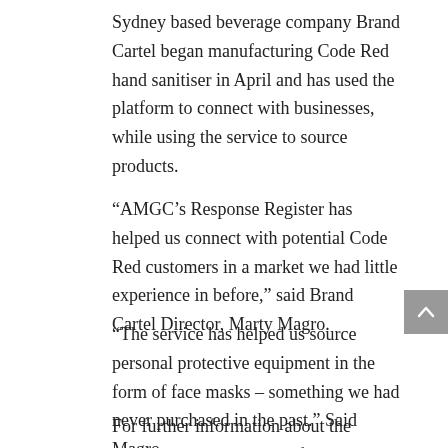Sydney based beverage company Brand Cartel began manufacturing Code Red hand sanitiser in April and has used the platform to connect with businesses, while using the service to source products.
“AMGC’s Response Register has helped us connect with potential Code Red customers in a market we had little experience in before,” said Brand Cartel Director, Marty Magro.
“The service has helped us source personal protective equipment in the form of face masks – something we had never purchased in the past.” Said Magro.
For further information about the AMGC COVID-19 Manufacturer Response Register, visit